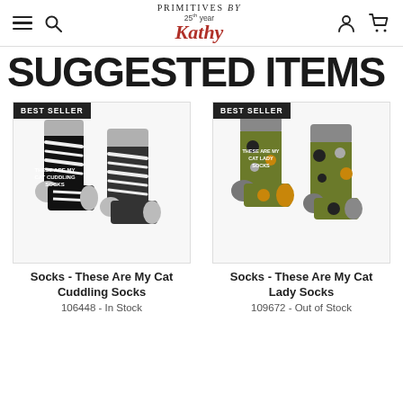Primitives by Kathy - 25th year
SUGGESTED ITEMS
[Figure (photo): Two black and white cat-themed socks with zebra stripe pattern and text 'These Are My Cat Cuddling Socks', labeled BEST SELLER]
Socks - These Are My Cat Cuddling Socks
106448 - In Stock
[Figure (photo): Two olive green cat-themed socks with cat faces and text 'These Are My Cat Lady Socks', labeled BEST SELLER]
Socks - These Are My Cat Lady Socks
109672 - Out of Stock